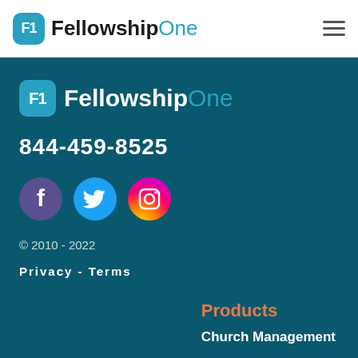[Figure (logo): FellowshipOne logo in header — cyan F1 box with FellowshipOne wordmark]
[Figure (other): Hamburger menu icon (three horizontal lines) in header top right]
[Figure (logo): FellowshipOne logo in footer section — cyan F1 box with FellowshipOne wordmark in white]
844-459-8525
[Figure (infographic): Three social media icons: Facebook (purple circle), Twitter (blue circle), Instagram (gradient circle)]
© 2010 - 2022
Privacy - Terms
Products
Church Management